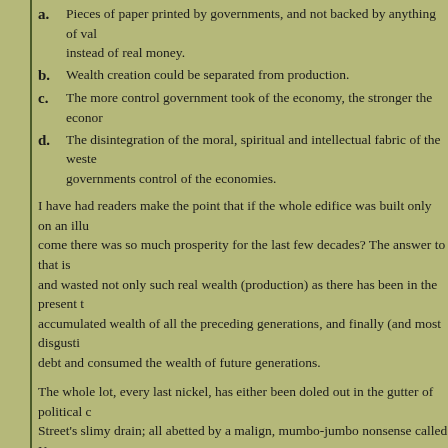a. Pieces of paper printed by governments, and not backed by anything of value, used instead of real money.
b. Wealth creation could be separated from production.
c. The more control government took of the economy, the stronger the economy.
d. The disintegration of the moral, spiritual and intellectual fabric of the western world had nothing to do with governments control of the economies.
I have had readers make the point that if the whole edifice was built only on an illusion, how come there was so much prosperity for the last few decades? The answer to that is that we borrowed and wasted not only such real wealth (production) as there has been in the present time, but the accumulated wealth of all the preceding generations, and finally (and most disgustingly) borrowed debt and consumed the wealth of future generations.
The whole lot, every last nickel, has either been doled out in the gutter of political corruption or Wall Street's slimy drain; all abetted by a malign, mumbo-jumbo nonsense called Keynesianism. There is no reference to prior criminality and stupidity on such a grand scale. There is no historical precedent.
For three generations the public have been lied to and lulled into a false sense of security by the education system and by governments.
Now, more than ever, there is a desperate need for the truth. The restoration of hope depends on the truth. A foundation of truth is the bedrock of any decent society, which is why the corrupt fight so desperately to suppress it, and why sane people value the virtue of truth so highly.
The truth is that the current system has become corrupted beyond possibility of repair. It is going to collapse. It will do so anyway, whether we 'allow' it or not. It must collapse, so that new systems to meet the genuine needs of people can be created. Destruction must often precede creation... living quarters can be constructed.